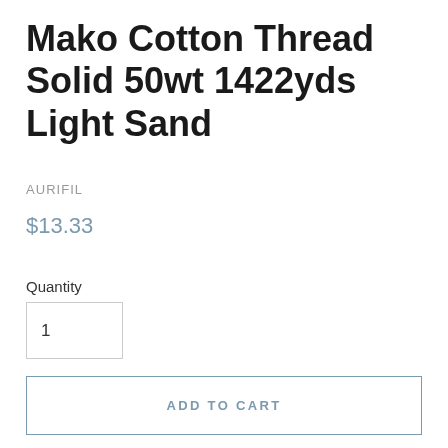Mako Cotton Thread Solid 50wt 1422yds Light Sand
AURIFIL
$13.33
Quantity
1
ADD TO CART